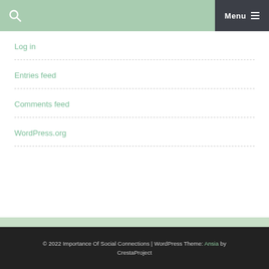Menu
Log in
Entries feed
Comments feed
WordPress.org
© 2022 Importance Of Social Connections | WordPress Theme: Ansia by CrestaProject